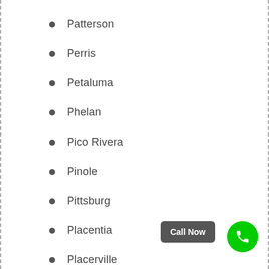Patterson
Perris
Petaluma
Phelan
Pico Rivera
Pinole
Pittsburg
Placentia
Placerville
Playa Del Rey